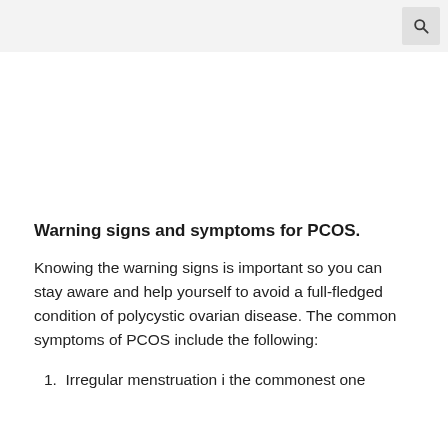Warning signs and symptoms for PCOS.
Knowing the warning signs is important so you can stay aware and help yourself to avoid a full-fledged condition of polycystic ovarian disease. The common symptoms of PCOS include the following:
1. Irregular menstruation i the commonest one